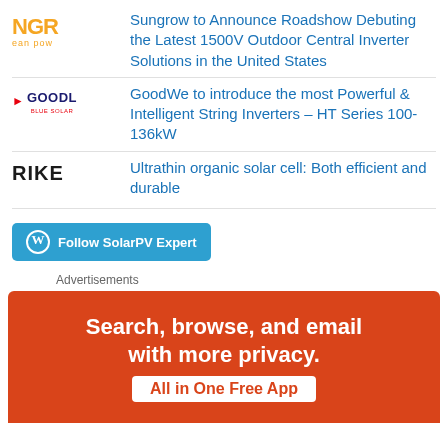[Figure (logo): NGR / ean pow logo in orange]
Sungrow to Announce Roadshow Debuting the Latest 1500V Outdoor Central Inverter Solutions in the United States
[Figure (logo): GoodWe logo with red arrow and dark blue text]
GoodWe to introduce the most Powerful & Intelligent String Inverters – HT Series 100-136kW
[Figure (logo): RIKE logo in dark bold letters]
Ultrathin organic solar cell: Both efficient and durable
Follow SolarPV Expert
Advertisements
[Figure (infographic): Orange advertisement banner: Search, browse, and email with more privacy. All in One Free App]